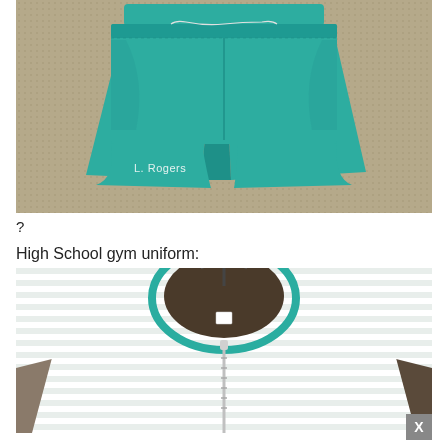[Figure (photo): A pair of teal/green shorts laid flat on a tan/beige textured surface. Text 'L. Rogers' written on the lower left leg of the shorts.]
?
High School gym uniform:
[Figure (photo): Close-up of a green and white horizontally striped gym top/shirt with a zipper down the front and a round neck with green trim, hanging on a hanger.]